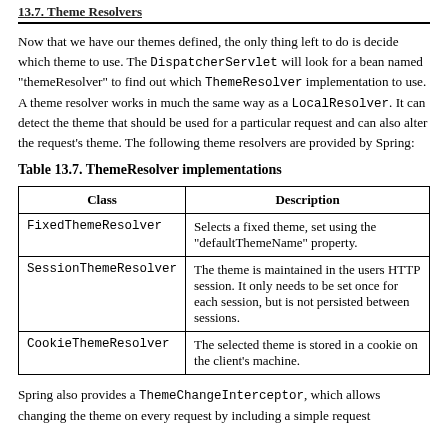13.7. Theme Resolvers
Now that we have our themes defined, the only thing left to do is decide which theme to use. The DispatcherServlet will look for a bean named "themeResolver" to find out which ThemeResolver implementation to use. A theme resolver works in much the same way as a LocalResolver. It can detect the theme that should be used for a particular request and can also alter the request's theme. The following theme resolvers are provided by Spring:
Table 13.7. ThemeResolver implementations
| Class | Description |
| --- | --- |
| FixedThemeResolver | Selects a fixed theme, set using the "defaultThemeName" property. |
| SessionThemeResolver | The theme is maintained in the users HTTP session. It only needs to be set once for each session, but is not persisted between sessions. |
| CookieThemeResolver | The selected theme is stored in a cookie on the client's machine. |
Spring also provides a ThemeChangeInterceptor, which allows changing the theme on every request by including a simple request